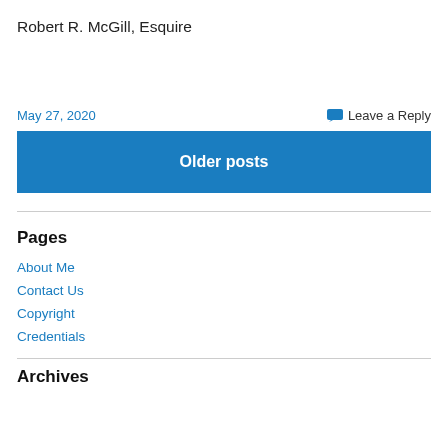Robert R. McGill, Esquire
May 27, 2020
Leave a Reply
Older posts
Pages
About Me
Contact Us
Copyright
Credentials
Archives